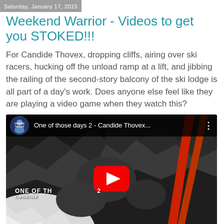Saturday, January 17, 2015
Weekend Warrior - Videos to get you STOKED!!!
For Candide Thovex, dropping cliffs, airing over ski racers, hucking off the unload ramp at a lift, and jibbing the railing of the second-story balcony of the ski lodge is all part of a day's work. Does anyone else feel like they are playing a video game when they watch this?
[Figure (screenshot): Embedded YouTube video thumbnail showing 'One of those days 2 - Candide Thovex' with a rocky cave/cliff background, skis visible on the right, snow on the left, red YouTube play button in the center, and the video title visible in the top bar.]